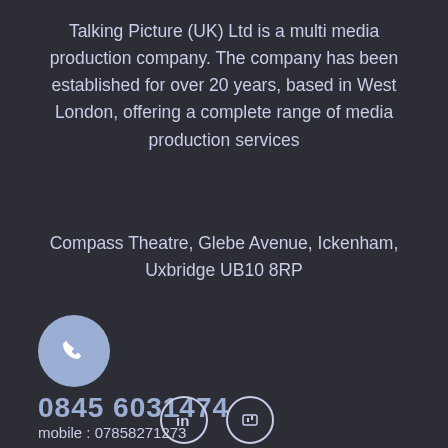Talking Picture (UK) Ltd is a multi media production company. The company has been established for over 20 years, based in West London,  offering  a complete range of media production services
Compass Theatre, Glebe Avenue, Ickenham, Uxbridge UB10 8RP
[Figure (illustration): Phone handset icon inside a light blue circle]
0845 6031474
mobile : 07858271273
[Figure (illustration): LinkedIn and another social media icon in circular outlines at the bottom]